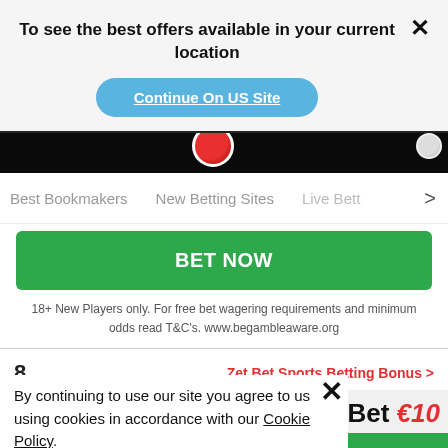To see the best offers available in your current location
Continue On US Site
Best Bookmakers   New Betting Sites   Live Bett >
BET NOW
18+ New Players only. For free bet wagering requirements and minimum odds read T&C's. www.begambleaware.org
Terms Apply
8
Zet Bet Sports Betting Bonus >
By continuing to use our site you agree to us using cookies in accordance with our Cookie Policy.
GOT IT
onus Bet €10
Established 2022